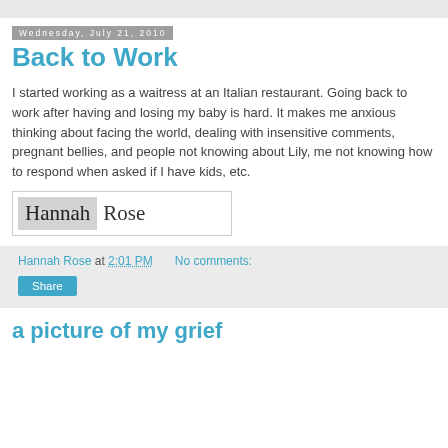Wednesday, July 21, 2010
Back to Work
I started working as a waitress at an Italian restaurant. Going back to work after having and losing my baby is hard. It makes me anxious thinking about facing the world, dealing with insensitive comments, pregnant bellies, and people not knowing about Lily, me not knowing how to respond when asked if I have kids, etc.
[Figure (illustration): Handwritten cursive signature reading 'Hannah Rose' with the first name on a grey highlighted background]
Hannah Rose at 2:01 PM   No comments:
Share
a picture of my grief